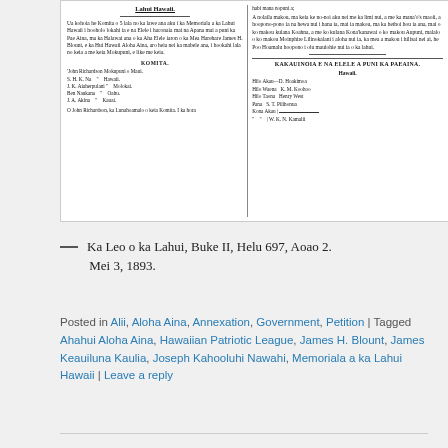[Figure (other): Scanned Hawaiian-language newspaper clipping with two columns of text in Hawaiian, showing a committee list (Komita) on the left and a section titled 'Kakauinoia e na Elele a Puni ka Paeaina' with names from Hawaii on the right.]
— Ka Leo o ka Lahui, Buke II, Helu 697, Aoao 2. Mei 3, 1893.
Posted in Alii, Aloha Aina, Annexation, Government, Petition | Tagged Ahahui Aloha Aina, Hawaiian Patriotic League, James H. Blount, James Keauiluna Kaulia, Joseph Kahooluhi Nawahi, Memoriala a ka Lahui Hawaii | Leave a reply